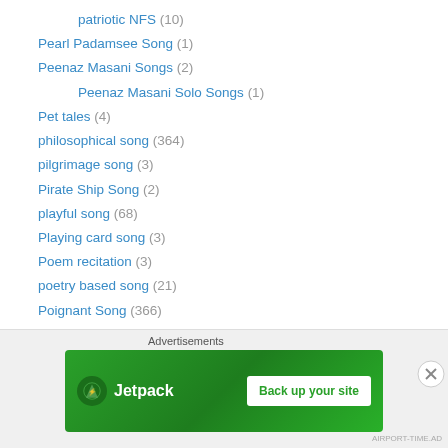patriotic NFS (10)
Pearl Padamsee Song (1)
Peenaz Masani Songs (2)
Peenaz Masani Solo Songs (1)
Pet tales (4)
philosophical song (364)
pilgrimage song (3)
Pirate Ship Song (2)
playful song (68)
Playing card song (3)
Poem recitation (3)
poetry based song (21)
Poignant Song (366)
praising a person (75)
Praising The Almighty (16)
Prayer (68)
[Figure (screenshot): Jetpack advertisement banner with 'Back up your site' button on green background]